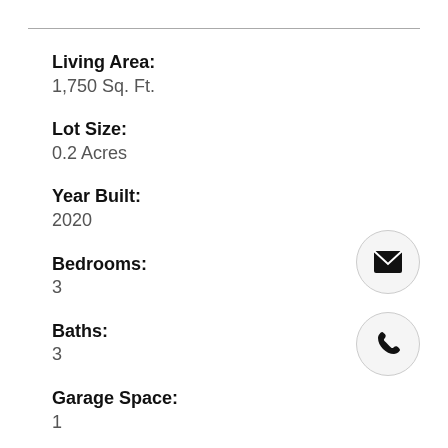Living Area:
1,750 Sq. Ft.
Lot Size:
0.2 Acres
Year Built:
2020
Bedrooms:
3
Baths:
3
Garage Space:
1
[Figure (illustration): Email icon (envelope) inside a light gray circle]
[Figure (illustration): Phone icon (handset) inside a light gray circle]